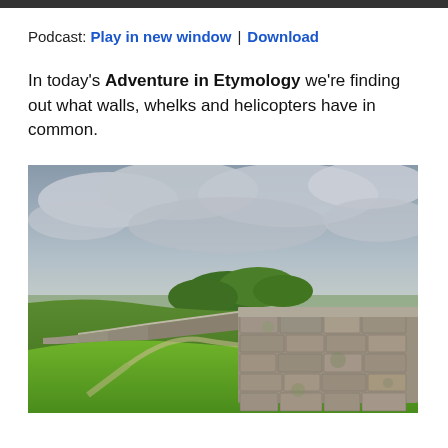Podcast: Play in new window | Download
In today's Adventure in Etymology we're finding out what walls, whelks and helicopters have in common.
[Figure (photo): A stone wall (Hadrian's Wall) extending across a green hillside landscape under a cloudy grey sky. The wall is made of large grey stones and runs from the foreground-right into the background-left. Lush green grass and trees are visible.]